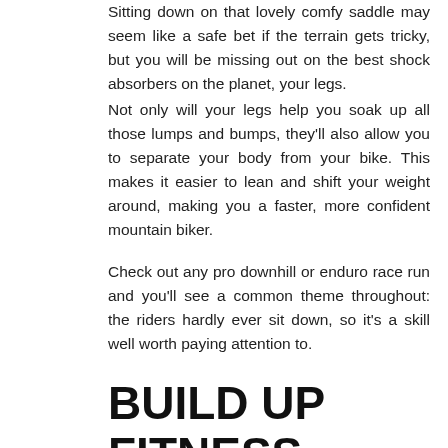Sitting down on that lovely comfy saddle may seem like a safe bet if the terrain gets tricky, but you will be missing out on the best shock absorbers on the planet, your legs.
Not only will your legs help you soak up all those lumps and bumps, they'll also allow you to separate your body from your bike. This makes it easier to lean and shift your weight around, making you a faster, more confident mountain biker.
Check out any pro downhill or enduro race run and you'll see a common theme throughout: the riders hardly ever sit down, so it's a skill well worth paying attention to.
BUILD UP FITNESS
Before working on speed or intensity, it's important to develop a basic level of fitness and endurance. “It